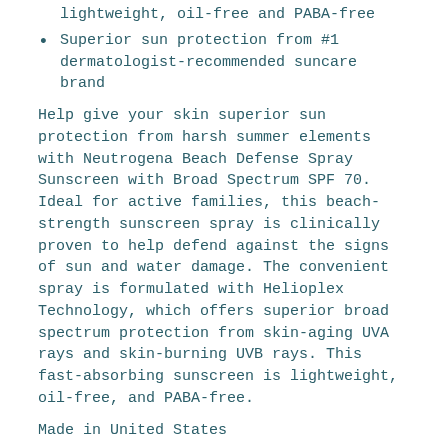lightweight, oil-free and PABA-free
Superior sun protection from #1 dermatologist-recommended suncare brand
Help give your skin superior sun protection from harsh summer elements with Neutrogena Beach Defense Spray Sunscreen with Broad Spectrum SPF 70. Ideal for active families, this beach-strength sunscreen spray is clinically proven to help defend against the signs of sun and water damage. The convenient spray is formulated with Helioplex Technology, which offers superior broad spectrum protection from skin-aging UVA rays and skin-burning UVB rays. This fast-absorbing sunscreen is lightweight, oil-free, and PABA-free.
Made in United States
Spray liberally and spread evenly by hand 15 minutes before sun exposure
Hold container 4-6 inches from the skin to apply. Rub in.
Do not spray directly into face. Spray on hands and